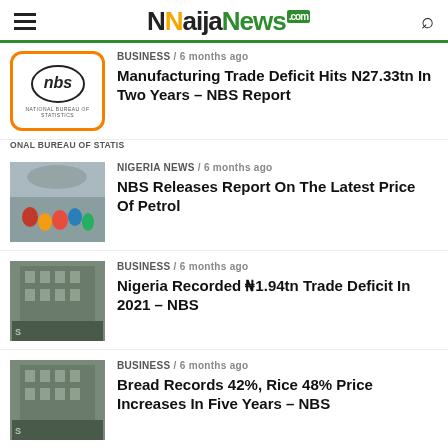NaijaNews.com
[Figure (screenshot): NBS logo thumbnail - white background with orange border, showing 'nbs' text and 'NATIONAL BUREAU OF STATISTICS' below]
BUSINESS / 6 months ago
Manufacturing Trade Deficit Hits N27.33tn In Two Years – NBS Report
ONAL BUREAU OF STATIS
[Figure (photo): Crowd of people at what appears to be a fuel station or public gathering]
NIGERIA NEWS / 6 months ago
NBS Releases Report On The Latest Price Of Petrol
[Figure (photo): Building exterior - appears to be NBS or CBN building]
BUSINESS / 6 months ago
Nigeria Recorded ₦1.94tn Trade Deficit In 2021 – NBS
[Figure (photo): Building exterior - appears to be NBS or CBN building]
BUSINESS / 6 months ago
Bread Records 42%, Rice 48% Price Increases In Five Years – NBS
[Figure (photo): Partial image - dark top portion visible]
BUSINESS / 6 months ago